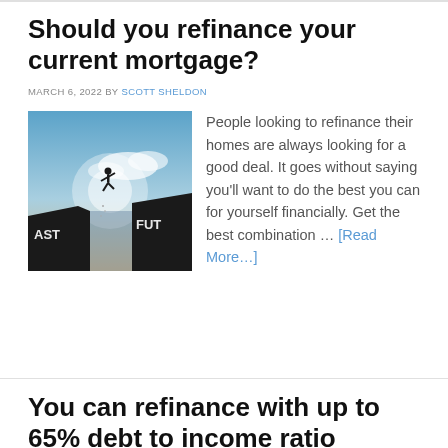Should you refinance your current mortgage?
MARCH 6, 2022 BY SCOTT SHELDON
[Figure (photo): Silhouette of a person jumping from a cliff labeled 'AST' (PAST) to another labeled 'FUTU' (FUTURE) against a blue sky with clouds]
People looking to refinance their homes are always looking for a good deal. It goes without saying you'll want to do the best you can for yourself financially. Get the best combination … [Read More…]
You can refinance with up to 65% debt to income ratio